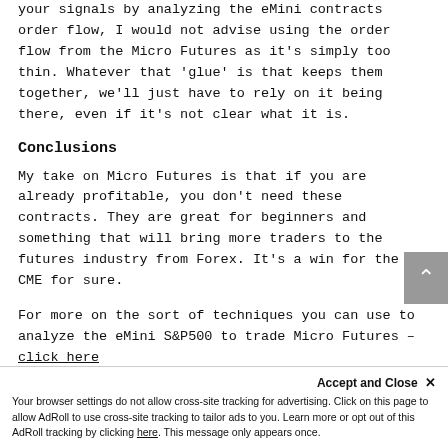your signals by analyzing the eMini contracts order flow, I would not advise using the order flow from the Micro Futures as it's simply too thin. Whatever that 'glue' is that keeps them together, we'll just have to rely on it being there, even if it's not clear what it is.
Conclusions
My take on Micro Futures is that if you are already profitable, you don't need these contracts. They are great for beginners and something that will bring more traders to the futures industry from Forex. It's a win for the CME for sure.
For more on the sort of techniques you can use to analyze the eMini S&P500 to trade Micro Futures – click here
Accept and Close ✕
Your browser settings do not allow cross-site tracking for advertising. Click on this page to allow AdRoll to use cross-site tracking to tailor ads to you. Learn more or opt out of this AdRoll tracking by clicking here. This message only appears once.